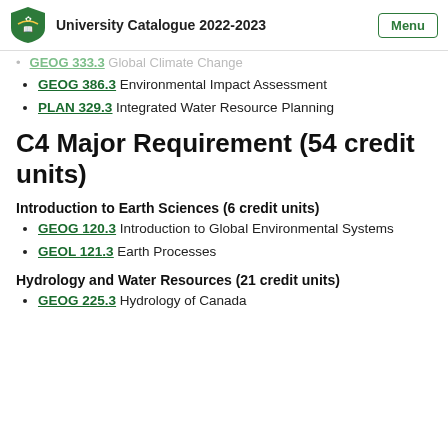University Catalogue 2022-2023
GEOG 333.3 Global Climate Change
GEOG 386.3 Environmental Impact Assessment
PLAN 329.3 Integrated Water Resource Planning
C4 Major Requirement (54 credit units)
Introduction to Earth Sciences (6 credit units)
GEOG 120.3 Introduction to Global Environmental Systems
GEOL 121.3 Earth Processes
Hydrology and Water Resources (21 credit units)
GEOG 225.3 Hydrology of Canada